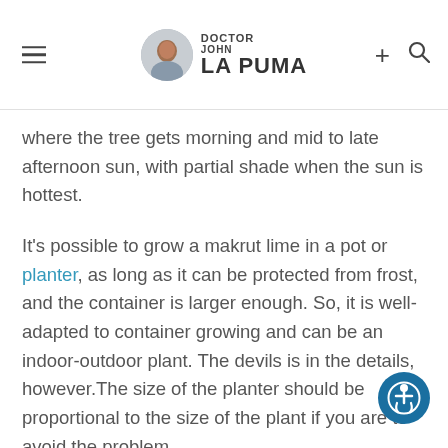Doctor John La Puma
where the tree gets morning and mid to late afternoon sun, with partial shade when the sun is hottest.
It's possible to grow a makrut lime in a pot or planter, as long as it can be protected from frost, and the container is larger enough. So, it is well-adapted to container growing and can be an indoor-outdoor plant. The devils is in the details, however.The size of the planter should be proportional to the size of the plant if you are to avoid the problem